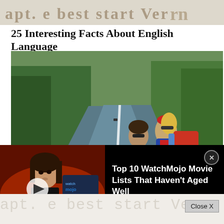25 Interesting Facts About English Language — decorative header banner
25 Interesting Facts About English Language
[Figure (photo): Two backpackers (a man and a woman wearing sunglasses and a red bandana) sitting beside a long straight road with trees in the background, looking into the distance]
[Figure (screenshot): WatchMojo video overlay showing a Star Wars-like character with long hair against a red/orange background, with a play button, WatchMojo logo box, and mojo logo. Title reads: Top 10 WatchMojo Movie Lists That Haven't Aged Well]
Top 10 WatchMojo Movie Lists That Haven't Aged Well
Close X